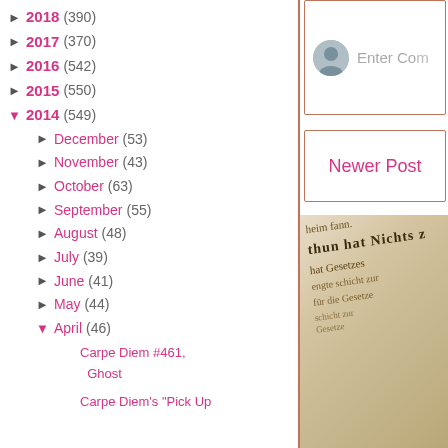► 2018 (390)
► 2017 (370)
► 2016 (542)
► 2015 (550)
▼ 2014 (549)
► December (53)
► November (43)
► October (63)
► September (55)
► August (48)
► July (39)
► June (41)
► May (44)
▼ April (46)
Carpe Diem #461, Ghost
Carpe Diem's "Pick Up
Enter Comment
Newer Post
[Figure (photo): Close-up photo of old Gothic script text in a book, showing German text in blackletter/fraktur style on aged paper]